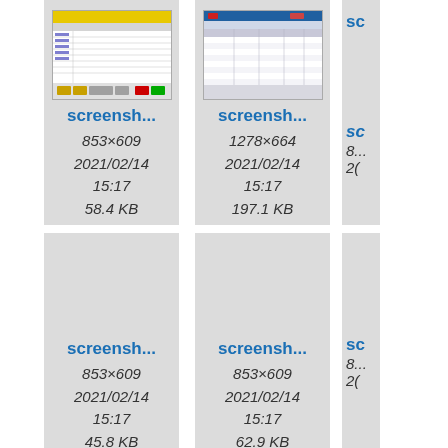[Figure (screenshot): Screenshot thumbnail 1: spreadsheet application with yellow header bar and colored buttons at bottom]
screensh...
853×609
2021/02/14
15:17
58.4 KB
[Figure (screenshot): Screenshot thumbnail 2: spreadsheet application with blue/red header and data rows]
screensh...
1278×664
2021/02/14
15:17
197.1 KB
sc...
8...
2(
[Figure (screenshot): Screenshot thumbnail 3: blank/empty screenshot]
screensh...
853×609
2021/02/14
15:17
45.8 KB
[Figure (screenshot): Screenshot thumbnail 4: blank/empty screenshot]
screensh...
853×609
2021/02/14
15:17
62.9 KB
sc...
8...
2(